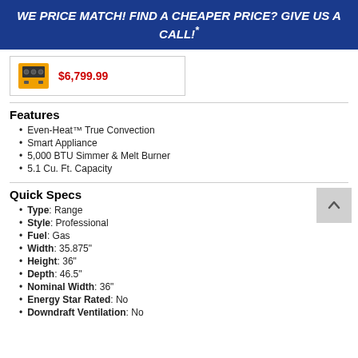WE PRICE MATCH! FIND A CHEAPER PRICE? GIVE US A CALL!*
[Figure (photo): Small product thumbnail image of a yellow/orange range appliance]
$6,799.99
Features
Even-Heat™ True Convection
Smart Appliance
5,000 BTU Simmer & Melt Burner
5.1 Cu. Ft. Capacity
Quick Specs
Type: Range
Style: Professional
Fuel: Gas
Width: 35.875"
Height: 36"
Depth: 46.5"
Nominal Width: 36"
Energy Star Rated: No
Downdraft Ventilation: No